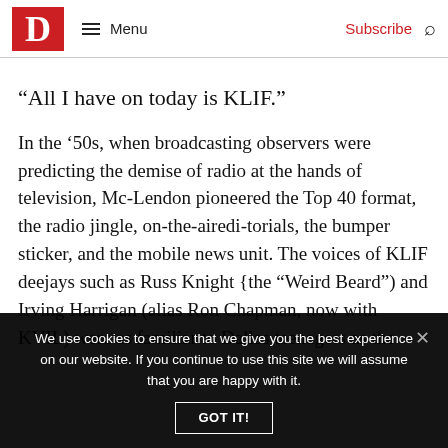D | Menu | Subscribe
“All I have on today is KLIF.”
In the ’50s, when broadcasting observers were predicting the demise of radio at the hands of television, Mc-Lendon pioneered the Top 40 format, the radio jingle, on-the-airedi-torials, the bumper sticker, and the mobile news unit. The voices of KLIF deejays such as Russ Knight {the “Weird Beard”) and Irving Harrigan (alias Ron Chapman, now with KVIL) were as familiar to Dallas teenagers as the
We use cookies to ensure that we give you the best experience on our website. If you continue to use this site we will assume that you are happy with it.
GOT IT!